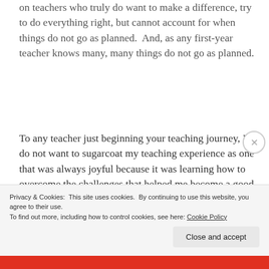on teachers who truly do want to make a difference, try to do everything right, but cannot account for when things do not go as planned.  And, as any first-year teacher knows many, many things do not go as planned.
To any teacher just beginning your teaching journey, I do not want to sugarcoat my teaching experience as one that was always joyful because it was learning how to overcome the challenges that helped me become a good teacher.
Privacy & Cookies: This site uses cookies. By continuing to use this website, you agree to their use.
To find out more, including how to control cookies, see here: Cookie Policy